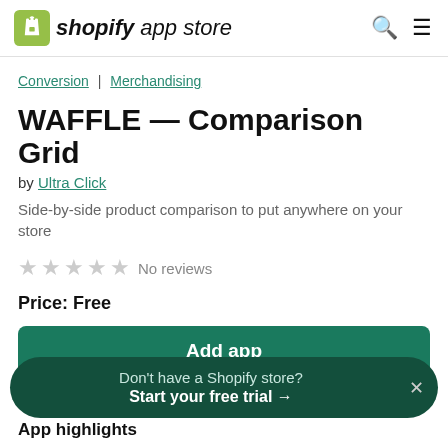shopify app store
Conversion | Merchandising
WAFFLE — Comparison Grid
by Ultra Click
Side-by-side product comparison to put anywhere on your store
No reviews
Price: Free
Add app
Don't have a Shopify store? Start your free trial →
App highlights